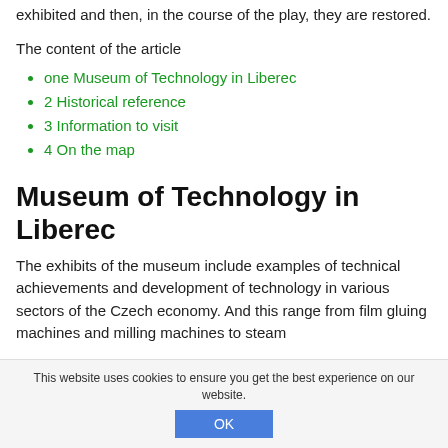exhibited and then, in the course of the play, they are restored.
The content of the article
one Museum of Technology in Liberec
2 Historical reference
3 Information to visit
4 On the map
Museum of Technology in Liberec
The exhibits of the museum include examples of technical achievements and development of technology in various sectors of the Czech economy. And this range from film gluing machines and milling machines to steam
This website uses cookies to ensure you get the best experience on our website.